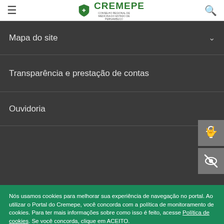≡  CREMEPE  🔍
Mapa do site
Transparência e prestação de contas
Ouvidoria
[Figure (illustration): Two accessibility icons: a hand/gesture icon and an eye with strikethrough icon, on grey square backgrounds]
Nós usamos cookies para melhorar sua experiência de navegação no portal. Ao utilizar o Portal do Cremepe, você concorda com a política de monitoramento de cookies. Para ter mais informações sobre como isso é feito, acesse Política de cookies. Se você concorda, clique em ACEITO.
ACEITO